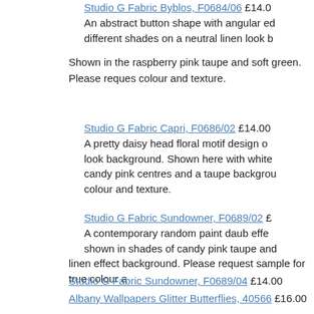Studio G Fabric Byblos, F0684/06 £14.0
An abstract button shape with angular ed different shades on a neutral linen look b
Shown in the raspberry pink taupe and soft green. Please reques colour and texture.
Studio G Fabric Capri, F0686/02 £14.00
A pretty daisy head floral motif design o look background. Shown here with white candy pink centres and a taupe backgrou colour and texture.
Studio G Fabric Sundowner, F0689/02 £
A contemporary random paint daub effe shown in shades of candy pink taupe and linen effect background. Please request sample for true colour a
Studio G Fabric Sundowner, F0689/04 £14.00
Albany Wallpapers Glitter Butterflies, 40566 £16.00